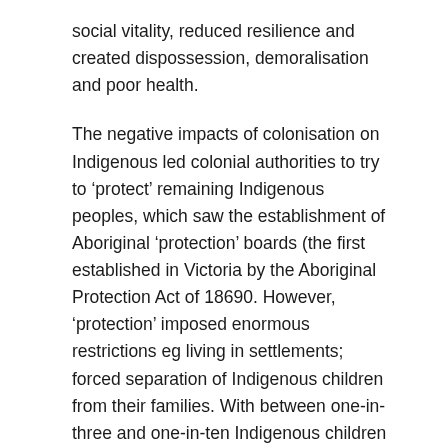social vitality, reduced resilience and created dispossession, demoralisation and poor health.
The negative impacts of colonisation on Indigenous led colonial authorities to try to ‘protect’ remaining Indigenous peoples, which saw the establishment of Aboriginal ‘protection’ boards (the first established in Victoria by the Aboriginal Protection Act of 18690. However, ‘protection’ imposed enormous restrictions eg living in settlements; forced separation of Indigenous children from their families. With between one-in-three and one-in-ten Indigenous children forcibly removed from their families and communities from 1910 until 1970. The result was irrevocable harm as one of the Stolen Generations stated: